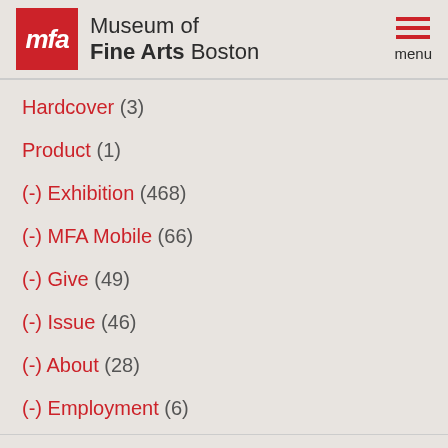Museum of Fine Arts Boston
Hardcover (3)
Product (1)
(-) Exhibition (468)
(-) MFA Mobile (66)
(-) Give (49)
(-) Issue (46)
(-) About (28)
(-) Employment (6)
Looking for Artwork?
Please use our Collections Search to complete or